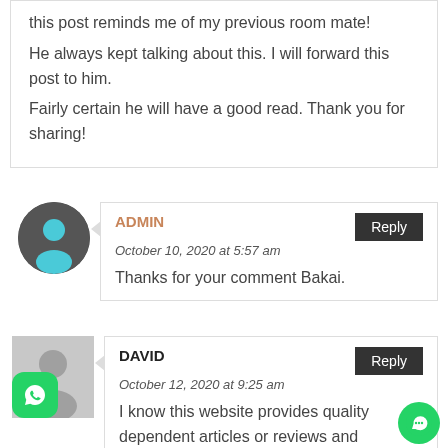this post reminds me of my previous room mate!
He always kept talking about this. I will forward this post to him.
Fairly certain he will have a good read. Thank you for sharing!
ADMIN
October 10, 2020 at 5:57 am
Thanks for your comment Bakai.
DAVID
October 12, 2020 at 9:25 am
I know this website provides quality dependent articles or reviews and